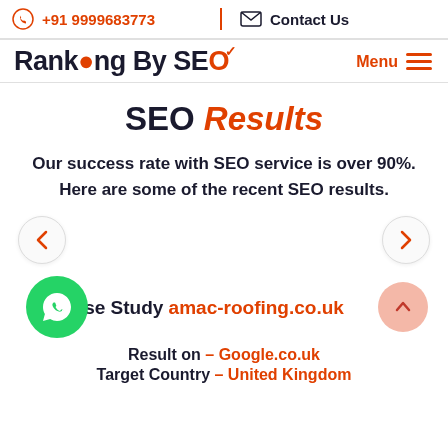+91 9999683773   Contact Us
[Figure (logo): RankingBySEO logo with orange dot on i and orange target icon on O]
SEO Results
Our success rate with SEO service is over 90%. Here are some of the recent SEO results.
Case Study amac-roofing.co.uk
Result on – Google.co.uk
Target Country – United Kingdom